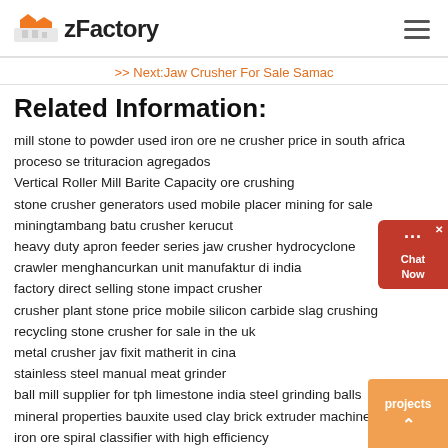zFactory
>> Next:Jaw Crusher For Sale Samac
Related Information:
mill stone to powder used iron ore ne crusher price in south africa
proceso se trituracion agregados
Vertical Roller Mill Barite Capacity ore crushing
stone crusher generators used mobile placer mining for sale
miningtambang batu crusher kerucut
heavy duty apron feeder series jaw crusher hydrocyclone
crawler menghancurkan unit manufaktur di india
factory direct selling stone impact crusher
crusher plant stone price mobile silicon carbide slag crushing
recycling stone crusher for sale in the uk
metal crusher jav fixit matherit in cina
stainless steel manual meat grinder
ball mill supplier for tph limestone india steel grinding balls
mineral properties bauxite used clay brick extruder machine
iron ore spiral classifier with high efficiency